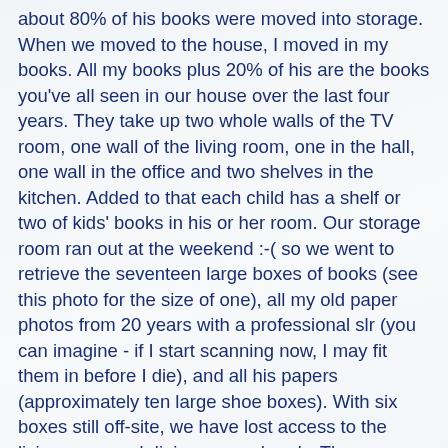about 80% of his books were moved into storage. When we moved to the house, I moved in my books. All my books plus 20% of his are the books you've all seen in our house over the last four years. They take up two whole walls of the TV room, one wall of the living room, one in the hall, one wall in the office and two shelves in the kitchen. Added to that each child has a shelf or two of kids' books in his or her room. Our storage room ran out at the weekend :-( so we went to retrieve the seventeen large boxes of books (see this photo for the size of one), all my old paper photos from 20 years with a professional slr (you can imagine - if I start scanning now, I may fit them in before I die), and all his papers (approximately ten large shoe boxes). With six boxes still off-site, we have lost access to the living room and dining room already. Thomas now needs to go through these and pile them into the categories: keep downstairs, keep in the loft, give to charity, sell, bin or burn, wrap up as Xmas presents to be given until 2050! I can't help because they aren't mine, so this needs to be fitted in after work, meaning it will potentially take weeks. Of course I already live in dread of where the 'sell' pile will be stored while the countless obscure tomes fester on Amazon for the rest of eternity. The loft pile is also